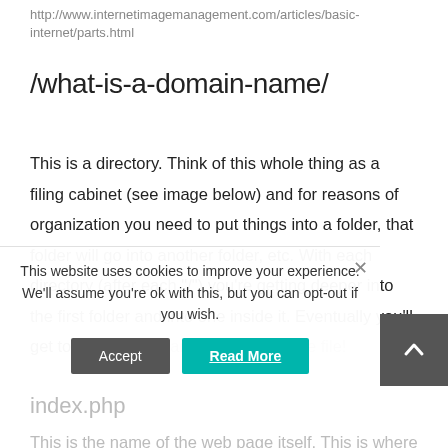http://www.internetimagemanagement.com/articles/basic-internet/parts.html
/what-is-a-domain-name/
This is a directory. Think of this whole thing as a filing cabinet (see image below) and for reasons of organization you need to put things into a folder, that folder will go into another folder, etc. With each directory (after each "/") you're getting deeper into the first folder and into one inside it. Eventually you'll get to the item you are looking for – the file!
This website uses cookies to improve your experience. We'll assume you're ok with this, but you can opt-out if you wish.
index.php
This is the name of the web page itself. This is where